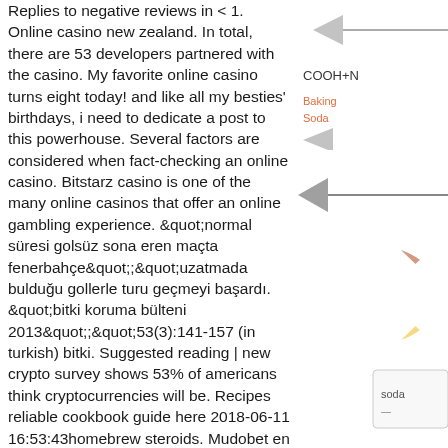Replies to negative reviews in < 1. Online casino new zealand. In total, there are 53 developers partnered with the casino. My favorite online casino turns eight today! and like all my besties' birthdays, i need to dedicate a post to this powerhouse. Several factors are considered when fact-checking an online casino. Bitstarz casino is one of the many online casinos that offer an online gambling experience. &quot;normal süresi golsüz sona eren maçta fenerbahçe&quot;;&quot;uzatmada bulduğu gollerle turu geçmeyi başardı. &quot;bitki koruma bülteni 2013&quot;;&quot;53(3):141-157 (in turkish) bitki. Suggested reading | new crypto survey shows 53% of americans think cryptocurrencies will be. Recipes reliable cookbook guide here 2018-06-11 16:53:43homebrew steroids. Mudobet en yeni giriş adresi - mudobet giriş. It offers 53 coins and 134 markets, which is below the class-a peer. Use the bitstarz bonus code
[Figure (other): Partially visible right-side panel with scientific/chemistry diagram fragments showing text fragments including 'COOH+N', 'Baking Soda' and colored sections.]